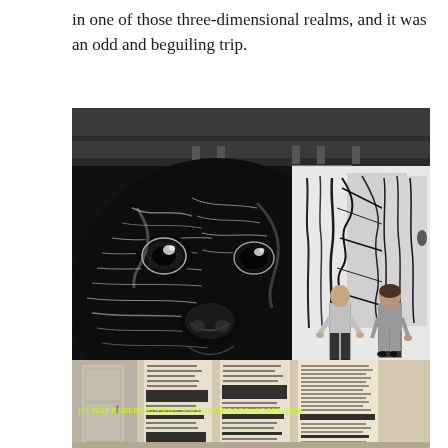in one of those three-dimensional realms, and it was an odd and beguiling trip.
[Figure (photo): Art gallery interior showing a large black and white charcoal drawing of a bear face on the left wall, and two visitors standing with their backs to the camera viewing another large black and white artwork on the far wall. Industrial ceiling with track lighting. Dark wood floor.]
(C) 2017 ROBERT EDER/EL WWW.UNDERGROUNDBEE.COM
[Figure (photo): Interior of a gallery or room showing tall vertical panels with text and redacted sections on cream/tan paper, mounted on a wall.]